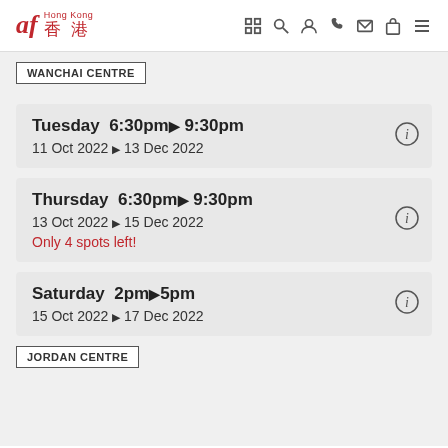af Hong Kong 香港
WANCHAI CENTRE
Tuesday 6:30pm▶9:30pm
11 Oct 2022 ▶ 13 Dec 2022
Thursday 6:30pm▶9:30pm
13 Oct 2022 ▶ 15 Dec 2022
Only 4 spots left!
Saturday 2pm▶5pm
15 Oct 2022 ▶ 17 Dec 2022
JORDAN CENTRE